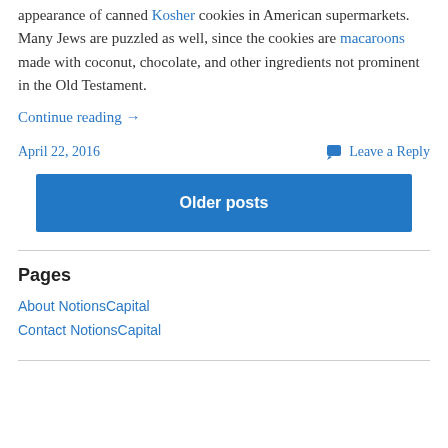appearance of canned Kosher cookies in American supermarkets. Many Jews are puzzled as well, since the cookies are macaroons made with coconut, chocolate, and other ingredients not prominent in the Old Testament.
Continue reading →
April 22, 2016
Leave a Reply
Older posts
Pages
About NotionsCapital
Contact NotionsCapital